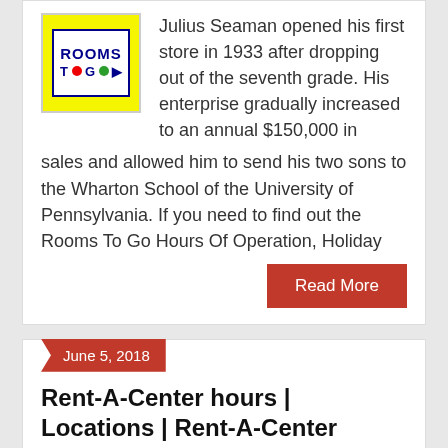[Figure (logo): Rooms To Go logo — yellow background with blue-bordered white rectangle containing 'ROOMS TO GO' text with colored dots]
Julius Seaman opened his first store in 1933 after dropping out of the seventh grade. His enterprise gradually increased to an annual $150,000 in sales and allowed him to send his two sons to the Wharton School of the University of Pennsylvania. If you need to find out the Rooms To Go Hours Of Operation, Holiday
Read More
June 5, 2018
Rent-A-Center hours | Locations | Rent-A-Center holiday hours | near me
By AJ   Holiday, Home & Garden   0 Comments